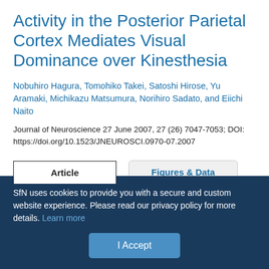Activity in the Posterior Parietal Cortex Mediates Visual Dominance over Kinesthesia
Nobuhiro Hagura, Tomohiko Takei, Satoshi Hirose, Yu Aramaki, Michikazu Matsumura, Norihiro Sadato, and Eiichi Naito
Journal of Neuroscience 27 June 2007, 27 (26) 7047-7053; DOI: https://doi.org/10.1523/JNEUROSCI.0970-07.2007
Article | Figures & Data | Info & Metrics | eLetters
SfN uses cookies to provide you with a secure and custom website experience. Please read our privacy policy for more details. Learn more